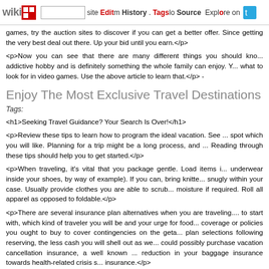wikidot | site | Edit | History | Tags | Source | Explore | Share on [Twitter]
games, try the auction sites to discover if you can get a better offer. Since getting the very best deal out there. Up your bid until you earn.</p>
<p>Now you can see that there are many different things you should kno... addictive hobby and is definitely something the whole family can enjoy. Y... what to look for in video games. Use the above article to learn that.</p> -
Enjoy The Most Exclusive Travel Destinations O...
Tags:
<h1>Seeking Travel Guidance? Your Search Is Over!</h1>
<p>Review these tips to learn how to program the ideal vacation. See ... spot which you will like. Planning for a trip might be a long process, and ... Reading through these tips should help you to get started.</p>
<p>When traveling, it's vital that you package gentle. Load items i... underwear inside your shoes, by way of example). If you can, bring knitte... snugly within your case. Usually provide clothes you are able to scrub... moisture if required. Roll all apparel as opposed to foldable.</p>
<p>There are several insurance plan alternatives when you are traveling.... to start with, which kind of traveler you will be and your urge for food... coverage or policies you ought to buy to cover contingencies on the geta... plan selections following reserving, the less cash you will shell out as we... could possibly purchase vacation cancellation insurance, a well known ... reduction in your baggage insurance towards health-related crisis s... insurance.</p>